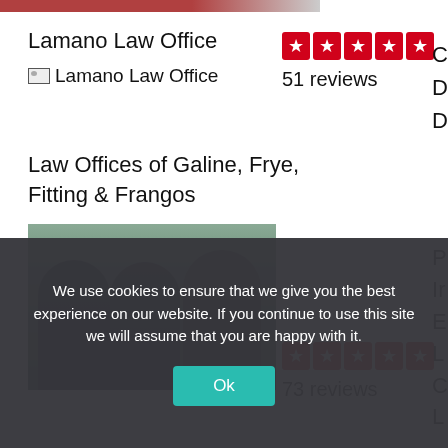Lamano Law Office
[Figure (photo): Lamano Law Office logo/image placeholder]
[Figure (other): 5-star rating: 51 reviews]
51 reviews
Law Offices of Galine, Frye, Fitting & Frangos
[Figure (photo): Three attorneys standing together — two men and a woman — in professional attire against a building backdrop]
[Figure (other): 5-star rating: 73 reviews]
73 reviews
We use cookies to ensure that we give you the best experience on our website. If you continue to use this site we will assume that you are happy with it.